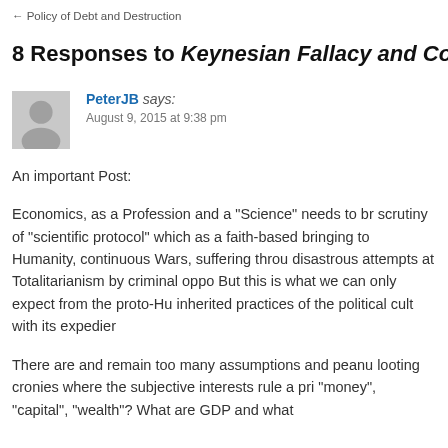← Policy of Debt and Destruction
8 Responses to Keynesian Fallacy and Col…
PeterJB says:
August 9, 2015 at 9:38 pm
An important Post:
Economics, as a Profession and a "Science" needs to br… scrutiny of "scientific protocol" which as a faith-based … bringing to Humanity, continuous Wars, suffering throu… disastrous attempts at Totalitarianism by criminal oppo… But this is what we can only expect from the proto-Hu… inherited practices of the political cult with its expedier…
There are and remain too many assumptions and peanu… looting cronies where the subjective interests rule a pri… "money", "capital", "wealth"? What are GDP and what…